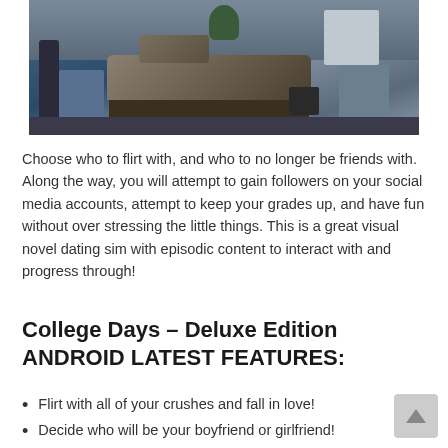[Figure (photo): 3D rendered bedroom scene with blue tones, showing a bed with dark sheets, a guitar leaning against the wall, a radiator, a plant, an amplifier, and furniture.]
Choose who to flirt with, and who to no longer be friends with. Along the way, you will attempt to gain followers on your social media accounts, attempt to keep your grades up, and have fun without over stressing the little things. This is a great visual novel dating sim with episodic content to interact with and progress through!
College Days – Deluxe Edition ANDROID LATEST FEATURES:
Flirt with all of your crushes and fall in love!
Decide who will be your boyfriend or girlfriend!